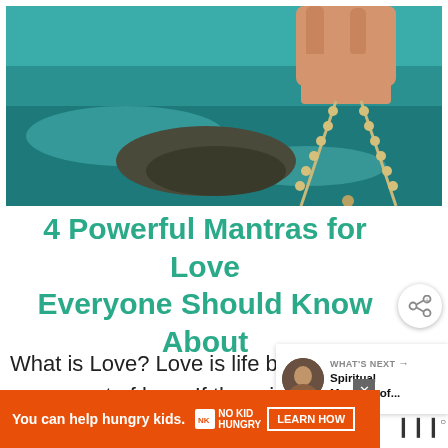[Figure (photo): A hand holding prayer beads (mala/rosary) with turquoise ocean and rocks in the background]
4 Powerful Mantras for Love Everyone Should Know About
What is Love? Love is life because everything comes out of love. If there is no love, then...
[Figure (other): WHAT'S NEXT widget showing a thumbnail avatar and text 'Spiritual Meaning of...']
[Figure (other): Advertisement bar: You can help hungry kids. No Kid Hungry. LEARN HOW button.]